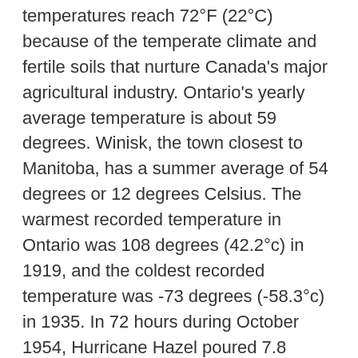temperatures reach 72°F (22°C) because of the temperate climate and fertile soils that nurture Canada's major agricultural industry. Ontario's yearly average temperature is about 59 degrees. Winisk, the town closest to Manitoba, has a summer average of 54 degrees or 12 degrees Celsius. The warmest recorded temperature in Ontario was 108 degrees (42.2°c) in 1919, and the coldest recorded temperature was -73 degrees (-58.3°c) in 1935. In 72 hours during October 1954, Hurricane Hazel poured 7.8 inches (200 millimeters) of rain on Toronto and caused the worst flood in Canadian history.
Facts about Ontario
Ontario is the second-largest province